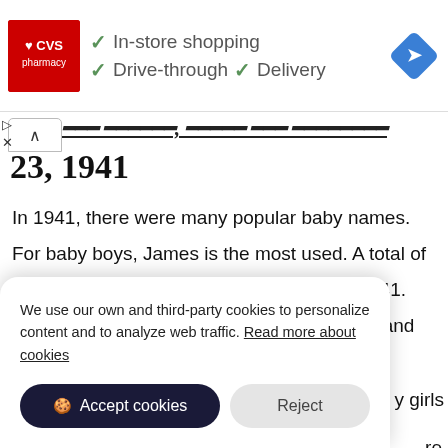[Figure (screenshot): CVS Pharmacy advertisement banner showing In-store shopping, Drive-through, and Delivery options with checkmarks and navigation icon]
23, 1941
In 1941, there were many popular baby names. For baby boys, James is the most used. A total of 66,743 baby boys were named James in 1941. The rest were named Robert, John, William and Richard. While the popular baby
y girls
[Figure (screenshot): Cookie consent banner: We use our own and third-party cookies to personalize content and to analyze web traffic. Read more about cookies. Buttons: Accept cookies, Reject]